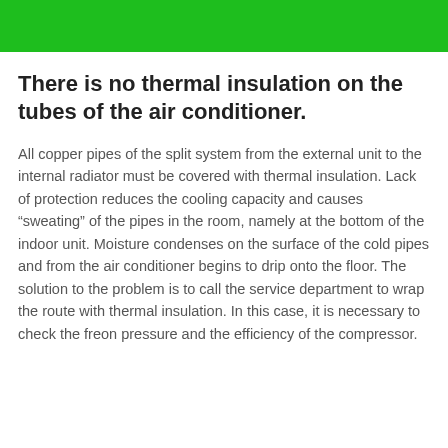[Figure (other): Green header bar at the top of the page]
There is no thermal insulation on the tubes of the air conditioner.
All copper pipes of the split system from the external unit to the internal radiator must be covered with thermal insulation. Lack of protection reduces the cooling capacity and causes “sweating” of the pipes in the room, namely at the bottom of the indoor unit. Moisture condenses on the surface of the cold pipes and from the air conditioner begins to drip onto the floor. The solution to the problem is to call the service department to wrap the route with thermal insulation. In this case, it is necessary to check the freon pressure and the efficiency of the compressor.